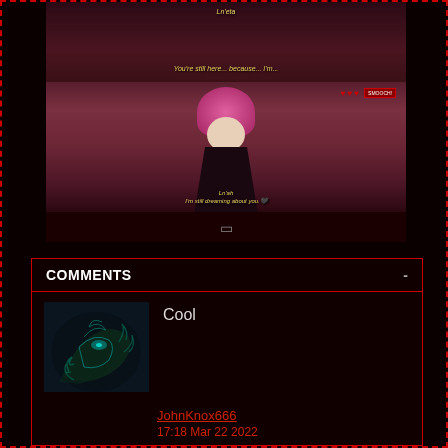[Figure (screenshot): Two-panel visual novel/game screenshot. Top panel shows character 'Ln'eta' with dialogue 'You're still here... because... I'm...'. Bottom panel shows a pink-haired anime character with dialogue 'I'm still dreaming about you.' and a HUD showing hearts and 'SMOOCH!' button.]
COMMENTS
[Figure (illustration): Dark fantasy dragon creature avatar for user JohnKnox666]
Cool
JohnKnox666
17:18 Mar 22 2022